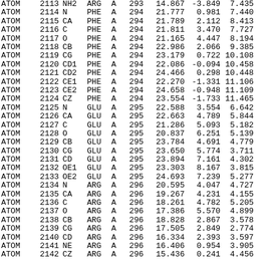| ATOM | 2113 | NH2 | ARG | A | 293 | 14.867 | -3.849 | 7.435 |  |
| ATOM | 2114 | N | PHE | A | 294 | 21.777 | 0.981 | 7.440 |  |
| ATOM | 2115 | CA | PHE | A | 294 | 21.789 | 2.112 | 8.413 |  |
| ATOM | 2116 | C | PHE | A | 294 | 21.811 | 3.470 | 7.727 |  |
| ATOM | 2117 | O | PHE | A | 294 | 21.165 | 4.447 | 8.194 |  |
| ATOM | 2118 | CB | PHE | A | 294 | 22.986 | 2.066 | 9.385 |  |
| ATOM | 2119 | CG | PHE | A | 294 | 23.179 | 0.722 | 10.108 |  |
| ATOM | 2120 | CD1 | PHE | A | 294 | 22.086 | -0.094 | 10.458 |  |
| ATOM | 2121 | CD2 | PHE | A | 294 | 24.466 | 0.298 | 10.448 |  |
| ATOM | 2122 | CE1 | PHE | A | 294 | 22.270 | -1.331 | 11.106 |  |
| ATOM | 2123 | CE2 | PHE | A | 294 | 24.658 | -0.948 | 11.109 |  |
| ATOM | 2124 | CZ | PHE | A | 294 | 23.554 | -1.733 | 11.465 |  |
| ATOM | 2125 | N | GLU | A | 295 | 22.588 | 3.554 | 6.642 |  |
| ATOM | 2126 | CA | GLU | A | 295 | 22.663 | 4.789 | 5.844 |  |
| ATOM | 2127 | C | GLU | A | 295 | 21.286 | 5.093 | 5.182 |  |
| ATOM | 2128 | O | GLU | A | 295 | 20.837 | 6.251 | 5.139 |  |
| ATOM | 2129 | CB | GLU | A | 295 | 23.784 | 4.691 | 4.779 |  |
| ATOM | 2130 | CG | GLU | A | 295 | 23.650 | 5.774 | 3.711 |  |
| ATOM | 2131 | CD | GLU | A | 295 | 23.894 | 7.161 | 4.302 |  |
| ATOM | 2132 | OE1 | GLU | A | 295 | 23.303 | 8.167 | 3.815 |  |
| ATOM | 2133 | OE2 | GLU | A | 295 | 24.693 | 7.239 | 5.277 |  |
| ATOM | 2134 | N | ARG | A | 296 | 20.595 | 4.047 | 4.727 |  |
| ATOM | 2135 | CA | ARG | A | 296 | 19.267 | 4.231 | 4.155 |  |
| ATOM | 2136 | C | ARG | A | 296 | 18.261 | 4.782 | 5.205 |  |
| ATOM | 2137 | O | ARG | A | 296 | 17.386 | 5.570 | 4.899 |  |
| ATOM | 2138 | CB | ARG | A | 296 | 18.828 | 2.867 | 3.578 |  |
| ATOM | 2139 | CG | ARG | A | 296 | 17.505 | 2.849 | 2.774 |  |
| ATOM | 2140 | CD | ARG | A | 296 | 16.334 | 2.393 | 3.597 |  |
| ATOM | 2141 | NE | ARG | A | 296 | 16.406 | 0.954 | 3.905 |  |
| ATOM | 2142 | CZ | ARG | A | 296 | 15.436 | 0.241 | 4.456 |  |